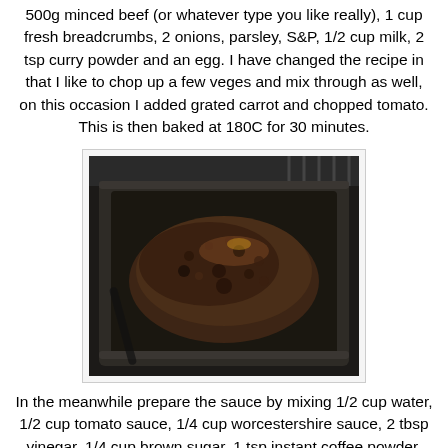500g minced beef (or whatever type you like really), 1 cup fresh breadcrumbs, 2 onions, parsley, S&P, 1/2 cup milk, 2 tsp curry powder and an egg. I have changed the recipe in that I like to chop up a few veges and mix through as well, on this occasion I added grated carrot and chopped tomato. This is then baked at 180C for 30 minutes.
[Figure (photo): A meatloaf in a dark roasting pan, cooked and browned on top, viewed from above on a grill rack background]
In the meanwhile prepare the sauce by mixing 1/2 cup water, 1/2 cup tomato sauce, 1/4 cup worcestershire sauce, 2 tbsp vinegar, 1/4 cup brown sugar, 1 tsp instant coffee powder, 25g butter and 2 tbsp lemon juice. Bring this to a boil and simmer for about five minutes. After the thirty minutes is up